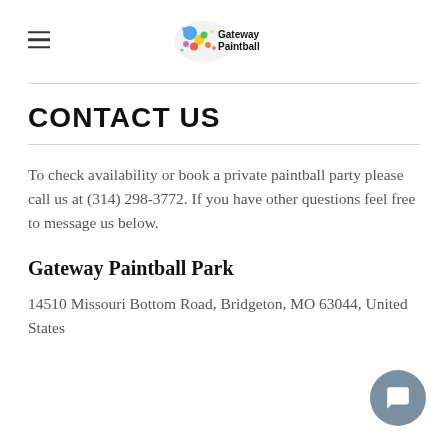Gateway Paintball (logo)
CONTACT US
To check availability or book a private paintball party please call us at (314) 298-3772. If you have other questions feel free to message us below.
Gateway Paintball Park
14510 Missouri Bottom Road, Bridgeton, MO 63044, United States